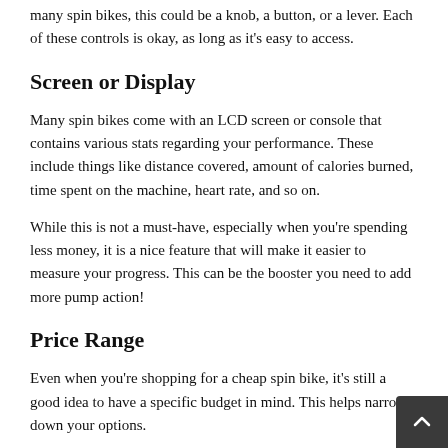many spin bikes, this could be a knob, a button, or a lever. Each of these controls is okay, as long as it’s easy to access.
Screen or Display
Many spin bikes come with an LCD screen or console that contains various stats regarding your performance. These include things like distance covered, amount of calories burned, time spent on the machine, heart rate, and so on.
While this is not a must-have, especially when you’re spending less money, it is a nice feature that will make it easier to measure your progress. This can be the booster you need to add more pump action!
Price Range
Even when you’re shopping for a cheap spin bike, it’s still a good idea to have a specific budget in mind. This helps narrow down your options.